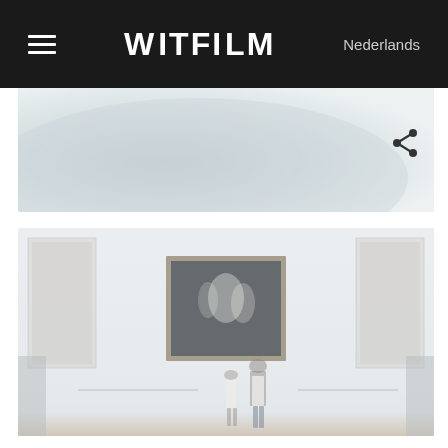WITFILM — Nederlands
[Figure (photo): Partial close-up photo of a light-colored curved surface, likely a sculpture, with a share icon overlay in the top right area]
[Figure (photo): Interior of an art museum gallery with white walls, large paintings on the walls including a prominent framed painting in the center, two figures (a child and an adult) viewed from behind standing looking at the central painting]